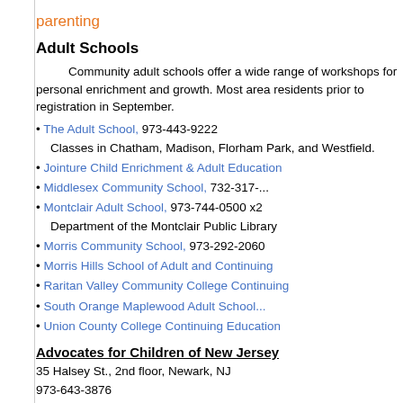parenting
Adult Schools
Community adult schools offer a wide range of workshops for personal enrichment and growth. Most area residents prior to registration in Sept...
The Adult School, 973-443-9222 Classes in Chatham, Madison, Florham ... Westfield.
Jointure Child Enrichment & Adult Educa...
Middlesex Community School, 732-317-...
Montclair Adult School, 973-744-0500 x... Department of the Montclair Public Libra...
Morris Community School, 973-292-206...
Morris Hills School of Adult and Continu...
Raritan Valley Community College Cont...
South Orange Maplewood Adult School...
Union County College Continuing Educa...
Advocates for Children of New Jersey
35 Halsey St., 2nd floor, Newark, NJ
973-643-3876